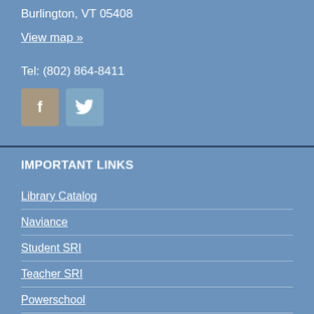Burlington, VT 05408
View map »
Tel: (802) 864-8411
[Figure (other): Facebook and Twitter social media icons]
IMPORTANT LINKS
Library Catalog
Naviance
Student SRI
Teacher SRI
Powerschool
Schoology